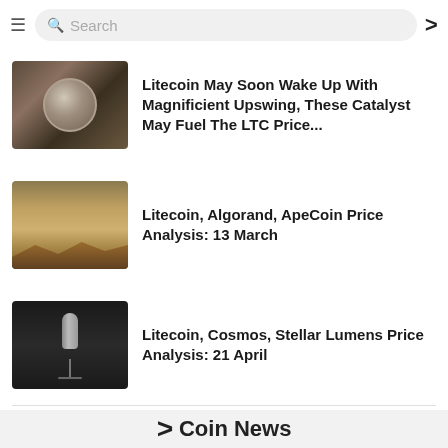Search — Coin News
[Figure (photo): Litecoin silver coin close-up on dark background]
Litecoin May Soon Wake Up With Magnificient Upswing, These Catalyst May Fuel The LTC Price...
[Figure (photo): Desert sand dunes landscape]
Litecoin, Algorand, ApeCoin Price Analysis: 13 March
[Figure (photo): Studio microphone in dark setting]
Litecoin, Cosmos, Stellar Lumens Price Analysis: 21 April
< Coin News